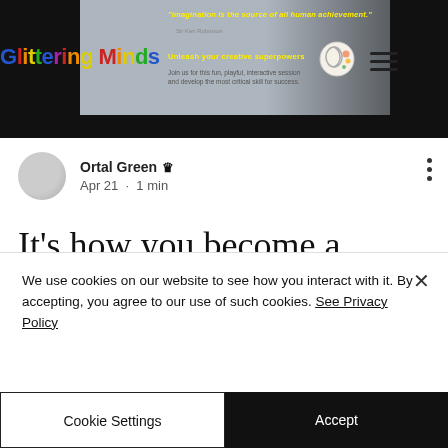[Figure (screenshot): Glittering Minds website header banner with colorful logo, quote by Sir Ken Robinson about imagination, and subheading about creative superpowers]
Ortal Green 👑 Apr 21 · 1 min
It's how you become a creative genius!
Today is the World Creativity and
We use cookies on our website to see how you interact with it. By accepting, you agree to our use of such cookies. See Privacy Policy
Cookie Settings
Accept